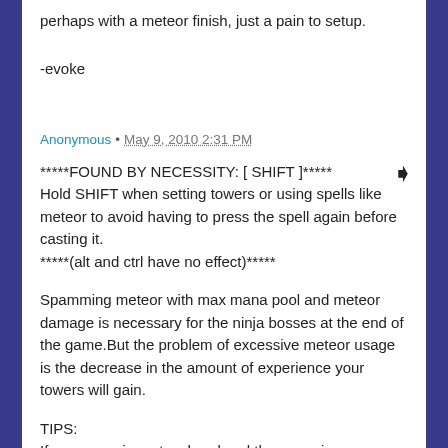perhaps with a meteor finish, just a pain to setup.
-evoke
Anonymous • May 9, 2010 2:31 PM
*****FOUND BY NECESSITY: [ SHIFT ]*****
Hold SHIFT when setting towers or using spells like meteor to avoid having to press the spell again before casting it.
*****(alt and ctrl have no effect)*****
Spamming meteor with max mana pool and meteor damage is necessary for the ninja bosses at the end of the game.But the problem of excessive meteor usage is the decrease in the amount of experience your towers will gain.
TIPS:
If you are using a touchpad and the game is